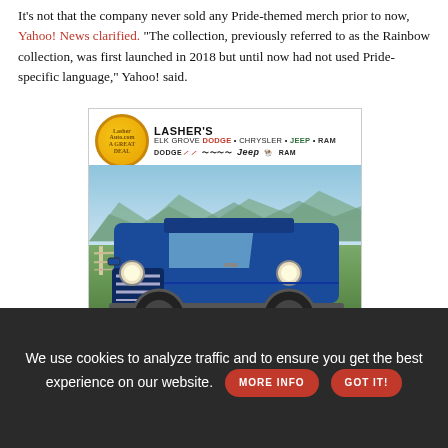It's not that the company never sold any Pride-themed merch prior to now, Yahoo! News clarified. "The collection, previously referred to as the Rainbow collection, was first launched in 2018 but until now had not used Pride-specific language," Yahoo! said.
[Figure (photo): Advertisement for Lasher's Elk Grove Dodge Chrysler Jeep Ram dealership showing a blue Jeep Wrangler parked in a field with mountains in the background.]
We use cookies to analyze traffic and to ensure you get the best experience on our website.